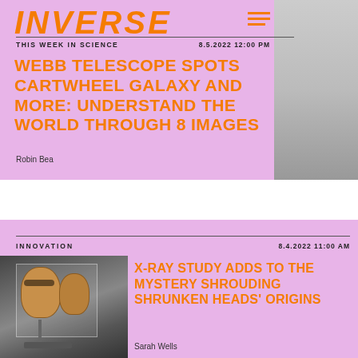INVERSE
THIS WEEK IN SCIENCE
8.5.2022 12:00 PM
WEBB TELESCOPE SPOTS CARTWHEEL GALAXY AND MORE: UNDERSTAND THE WORLD THROUGH 8 IMAGES
Robin Bea
INNOVATION
8.4.2022 11:00 AM
[Figure (photo): Photo of shrunken heads displayed in a museum case]
X-RAY STUDY ADDS TO THE MYSTERY SHROUDING SHRUNKEN HEADS' ORIGINS
Sarah Wells